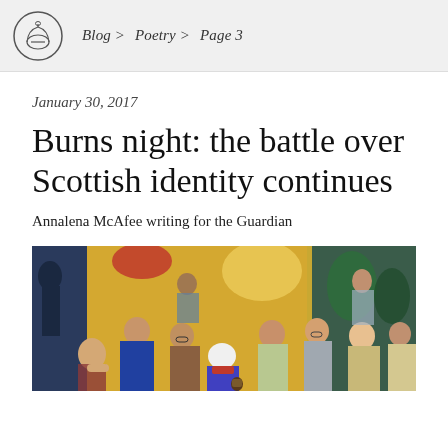Blog > Poetry > Page 3
January 30, 2017
Burns night: the battle over Scottish identity continues
Annalena McAfee writing for the Guardian
[Figure (illustration): A colorful painting depicting a group of people gathered together in a social scene, reminiscent of a Scottish gathering or salon, with figures in various poses conversing and interacting.]